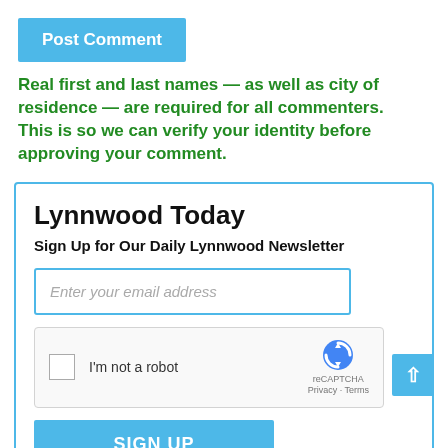Post Comment
Real first and last names — as well as city of residence — are required for all commenters.
This is so we can verify your identity before approving your comment.
Lynnwood Today
Sign Up for Our Daily Lynnwood Newsletter
Enter your email address
[Figure (other): reCAPTCHA widget with checkbox labeled I'm not a robot and the reCAPTCHA logo with Privacy and Terms links]
SIGN UP